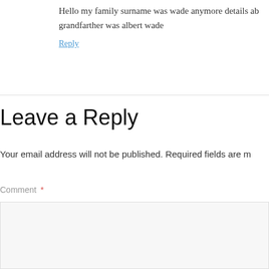Hello my family surname was wade anymore details ab grandfarther was albert wade
Reply
Leave a Reply
Your email address will not be published. Required fields are m
Comment *